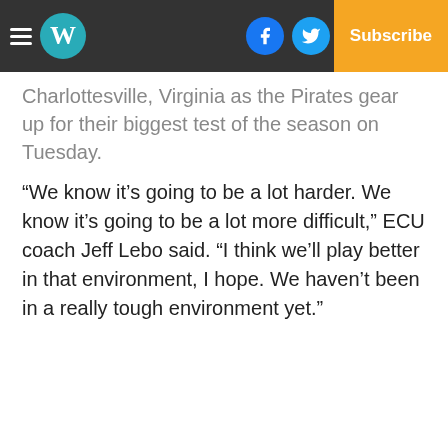W | Log In | Subscribe
Charlottesville, Virginia as the Pirates gear up for their biggest test of the season on Tuesday.
“We know it’s going to be a lot harder. We know it’s going to be a lot more difficult,” ECU coach Jeff Lebo said. “I think we’ll play better in that environment, I hope. We haven’t been in a really tough environment yet.”